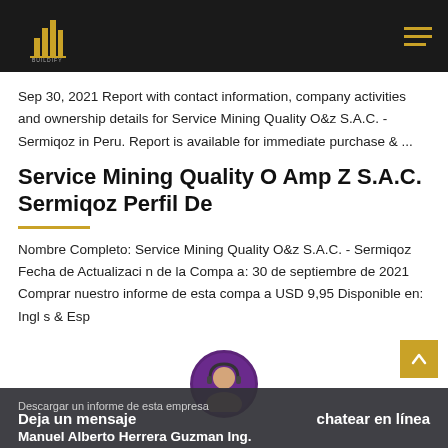BUILDIFY logo with hamburger menu
Sep 30, 2021 Report with contact information, company activities and ownership details for Service Mining Quality O&z S.A.C. - Sermiqoz in Peru. Report is available for immediate purchase & ...
Service Mining Quality O Amp Z S.A.C. Sermiqoz Perfil De
Nombre Completo: Service Mining Quality O&z S.A.C. - Sermiqoz Fecha de Actualizaci n de la Compa a: 30 de septiembre de 2021 Comprar nuestro informe de esta compa a USD 9,95 Disponible en: Ingl s & Esp
Descargar un informe de esta empresa · Deja un mensaje · chatear en línea · Manuel Alberto Herrera Guzman Ing.